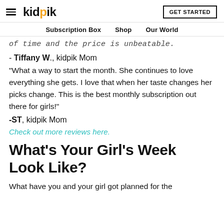kidpik — GET STARTED — Subscription Box | Shop | Our World
of time and the price is unbeatable.
- Tiffany W., kidpik Mom
“What a way to start the month. She continues to love everything she gets. I love that when her taste changes her picks change. This is the best monthly subscription out there for girls!”
-ST, kidpik Mom
Check out more reviews here.
What’s Your Girl’s Week Look Like?
What have you and your girl got planned for the